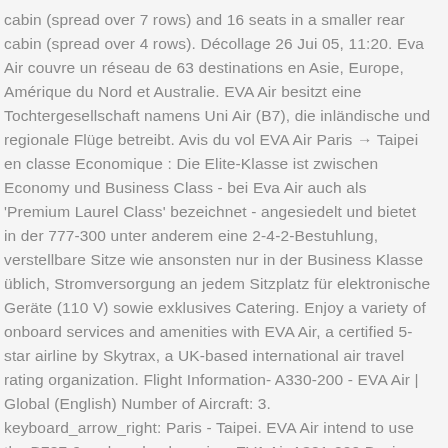cabin (spread over 7 rows) and 16 seats in a smaller rear cabin (spread over 4 rows). Décollage 26 Jui 05, 11:20. Eva Air couvre un réseau de 63 destinations en Asie, Europe, Amérique du Nord et Australie. EVA Air besitzt eine Tochtergesellschaft namens Uni Air (B7), die inländische und regionale Flüge betreibt. Avis du vol EVA Air Paris → Taipei en classe Economique : Die Elite-Klasse ist zwischen Economy und Business Class - bei Eva Air auch als 'Premium Laurel Class' bezeichnet - angesiedelt und bietet in der 777-300 unter anderem eine 2-4-2-Bestuhlung, verstellbare Sitze wie ansonsten nur in der Business Klasse üblich, Stromversorgung an jedem Sitzplatz für elektronische Geräte (110 V) sowie exklusives Catering. Enjoy a variety of onboard services and amenities with EVA Air, a certified 5-star airline by Skytrax, a UK-based international air travel rating organization. Flight Information- A330-200 - EVA Air | Global (English) Number of Aircraft: 3. keyboard_arrow_right: Paris - Taipei. EVA Air intend to use the B787-9 on long haul service. EVA Air A321-200 Business Class provides